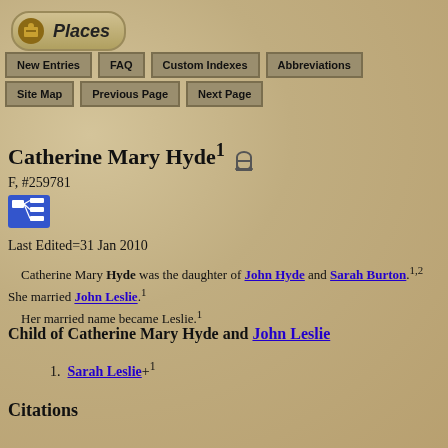[Figure (logo): Places logo with icon and rounded rectangle border]
New Entries | FAQ | Custom Indexes | Abbreviations | Site Map | Previous Page | Next Page
Catherine Mary Hyde1 [tombstone icon]
F, #259781
[Figure (other): Blue pedigree/family tree icon button]
Last Edited=31 Jan 2010
Catherine Mary Hyde was the daughter of John Hyde and Sarah Burton.1,2 She married John Leslie.1
 Her married name became Leslie.1
Child of Catherine Mary Hyde and John Leslie
1. Sarah Leslie+1
Citations